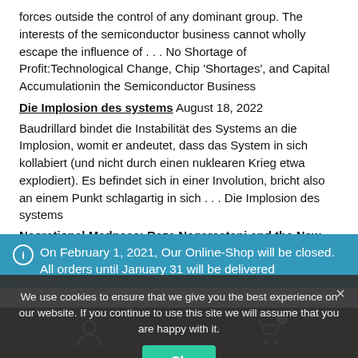forces outside the control of any dominant group. The interests of the semiconductor business cannot wholly escape the influence of . . . No Shortage of Profit:Technological Change, Chip 'Shortages', and Capital Accumulationin the Semiconductor Business
Die Implosion des systems August 18, 2022
Baudrillard bindet die Instabilität des Systems an die Implosion, womit er andeutet, dass das System in sich kollabiert (und nicht durch einen nuklearen Krieg etwa explodiert). Es befindet sich in einer Involution, bricht also an einem Punkt schlagartig in sich . . . Die Implosion des systems
Neorational Madness: Reza Negarestani and the New Society of Mind August 18, 2022
On February 1, 2021, Our Online-Shop will be closed. All orders until January 31 will be delivered
Dismiss
We use cookies to ensure that we give you the best experience on our website. If you continue to use this site we will assume that you are happy with it.
Ok